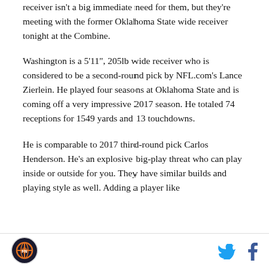receiver isn't a big immediate need for them, but they're meeting with the former Oklahoma State wide receiver tonight at the Combine.
Washington is a 5'11", 205lb wide receiver who is considered to be a second-round pick by NFL.com's Lance Zierlein. He played four seasons at Oklahoma State and is coming off a very impressive 2017 season. He totaled 74 receptions for 1549 yards and 13 touchdowns.
He is comparable to 2017 third-round pick Carlos Henderson. He's an explosive big-play threat who can play inside or outside for you. They have similar builds and playing style as well. Adding a player like
[Figure (logo): Sports website circular logo with orange and blue basketball/sports imagery]